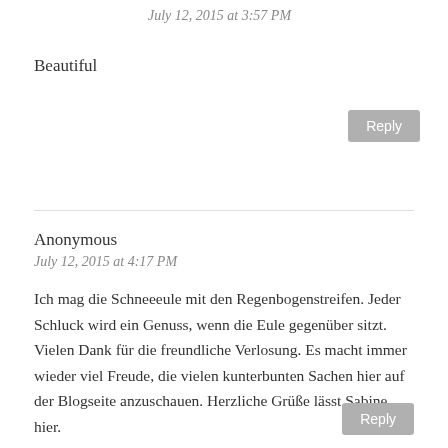July 12, 2015 at 3:57 PM
Beautiful
Reply
Anonymous
July 12, 2015 at 4:17 PM
Ich mag die Schneeeule mit den Regenbogenstreifen. Jeder Schluck wird ein Genuss, wenn die Eule gegenüber sitzt. Vielen Dank für die freundliche Verlosung. Es macht immer wieder viel Freude, die vielen kunterbunten Sachen hier auf der Blogseite anzuschauen. Herzliche Grüße lässt Sabine hier.
Reply